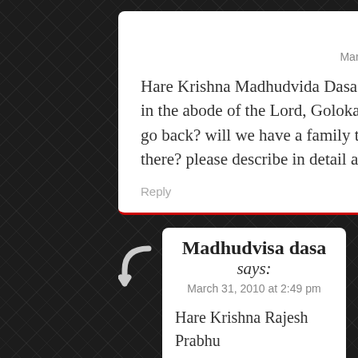Rajesh says:
March 20, 2010 at 12:40 pm

Hare Krishna Madhudvida Dasa ji, can you please tell me how will be the life in the abode of the Lord, Goloka. What activities we will be doing there if we go back? will we have a family there? will we be engaged in some occupation there? please describe in detail about Goloka..

Reply
Madhudvisa dasa says:
March 31, 2010 at 2:49 pm

Hare Krishna Rajesh Prabhu

Life in Goloka Vrindavan, we get a glimpse of this lifestyle in